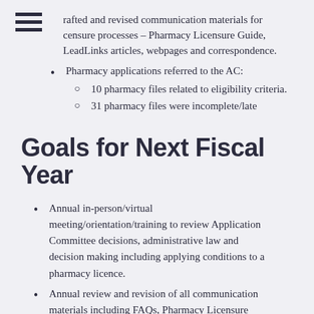rafted and revised communication materials for censure processes – Pharmacy Licensure Guide, LeadLinks articles, webpages and correspondence.
Pharmacy applications referred to the AC:
10 pharmacy files related to eligibility criteria.
31 pharmacy files were incomplete/late
Goals for Next Fiscal Year
Annual in-person/virtual meeting/orientation/training to review Application Committee decisions, administrative law and decision making including applying conditions to a pharmacy licence.
Annual review and revision of all communication materials including FAQs, Pharmacy Licensure